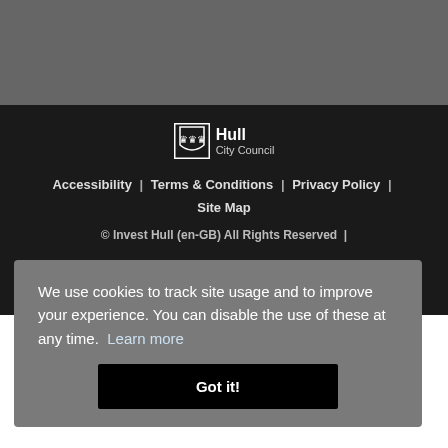[Figure (logo): Hull City Council logo with shield icon and text]
Accessibility | Terms & Conditions | Privacy Policy | Site Map
© Invest Hull (en-GB) All Rights Reserved |
We use cookies to track site usage and to improve your experience. You can disable the use of these at any time. Learn more
Got it!